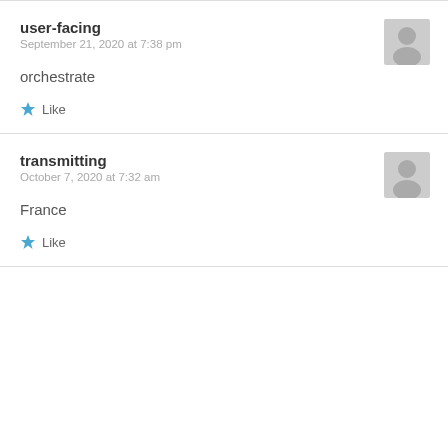user-facing
September 21, 2020 at 7:38 pm
orchestrate
Like
transmitting
October 7, 2020 at 7:32 am
France
Like